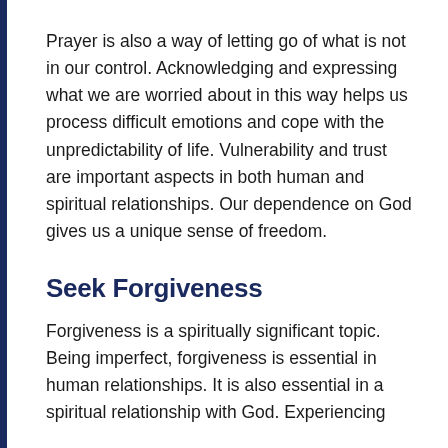Prayer is also a way of letting go of what is not in our control. Acknowledging and expressing what we are worried about in this way helps us process difficult emotions and cope with the unpredictability of life. Vulnerability and trust are important aspects in both human and spiritual relationships. Our dependence on God gives us a unique sense of freedom.
Seek Forgiveness
Forgiveness is a spiritually significant topic. Being imperfect, forgiveness is essential in human relationships. It is also essential in a spiritual relationship with God. Experiencing